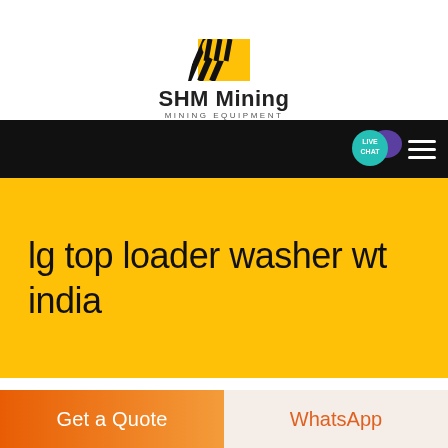[Figure (logo): SHM Mining logo with yellow and black diagonal stripe graphic above brand name text]
SHM Mining
MINING EQUIPMENT
[Figure (screenshot): Black navigation bar with Live Chat bubble (teal circle with purple chat icon) and white hamburger menu icon on right]
lg top loader washer wt india
We package the products with best
Get a Quote
WhatsApp